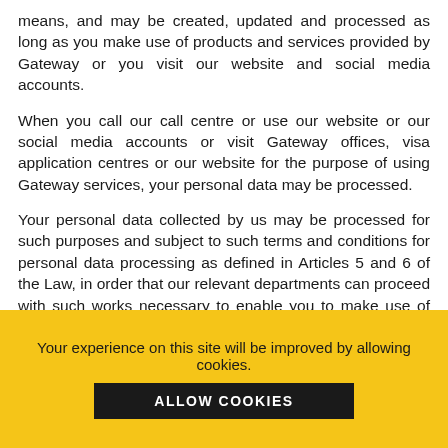means, and may be created, updated and processed as long as you make use of products and services provided by Gateway or you visit our website and social media accounts.
When you call our call centre or use our website or our social media accounts or visit Gateway offices, visa application centres or our website for the purpose of using Gateway services, your personal data may be processed.
Your personal data collected by us may be processed for such purposes and subject to such terms and conditions for personal data processing as defined in Articles 5 and 6 of the Law, in order that our relevant departments can proceed with such works necessary to enable you to make use of the services and products offered by Gateway, and in order to define and implement business and commercial strategies of Gateway and to apply Gateway's quality standard policies.
Your experience on this site will be improved by allowing cookies.
ALLOW COOKIES